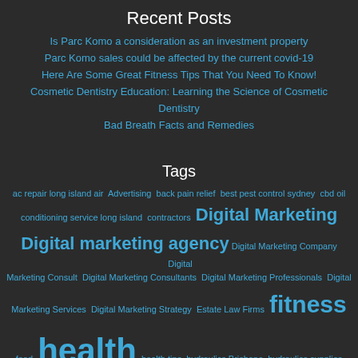Recent Posts
Is Parc Komo a consideration as an investment property
Parc Komo sales could be affected by the current covid-19
Here Are Some Great Fitness Tips That You Need To Know!
Cosmetic Dentistry Education: Learning the Science of Cosmetic Dentistry
Bad Breath Facts and Remedies
Tags
ac repair long island air Advertising back pain relief best pest control sydney cbd oil conditioning service long island contractors Digital Marketing Digital marketing agency Digital Marketing Company Digital Marketing Consult Digital Marketing Consultants Digital Marketing Professionals Digital Marketing Services Digital Marketing Strategy Estate Law Firms fitness food health health tips hydraulics Brisbane hydraulics supplies internet marketing Investment in Real estate long island limo service Math Help Math Tutors pest control penrith possum removal Property Investments Real Estate Agent Real